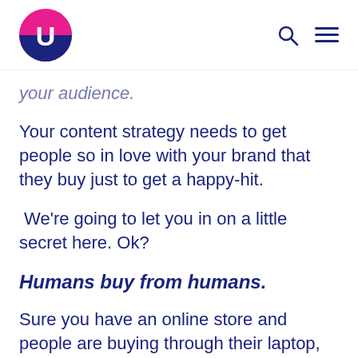U [logo] [search] [menu]
your audience.
Your content strategy needs to get people so in love with your brand that they buy just to get a happy-hit.
We're going to let you in on a little secret here. Ok?
Humans buy from humans.
Sure you have an online store and people are buying through their laptop, iPad or phone, but they are still human and here's where we create a human-to-human